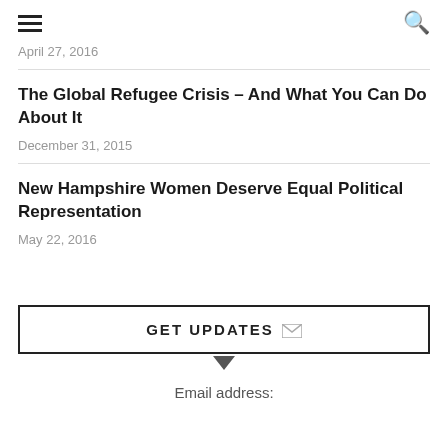≡  🔍
April 27, 2016
The Global Refugee Crisis – And What You Can Do About It
December 31, 2015
New Hampshire Women Deserve Equal Political Representation
May 22, 2016
GET UPDATES
Email address: